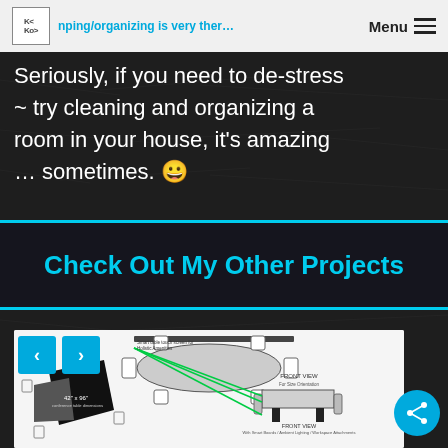Menu
Seriously, if you need to de-stress ~ try cleaning and organizing a room in your house, it's amazing … sometimes. 😀
Check Out My Other Projects
[Figure (engineering-diagram): Floor plan / furniture layout diagram showing a conference table with chairs from front view and top view, with dimensions labeled 42" x 96" and green pointer lines indicating Smart Boards, Ambient Lighting, and Workspace Attachments]